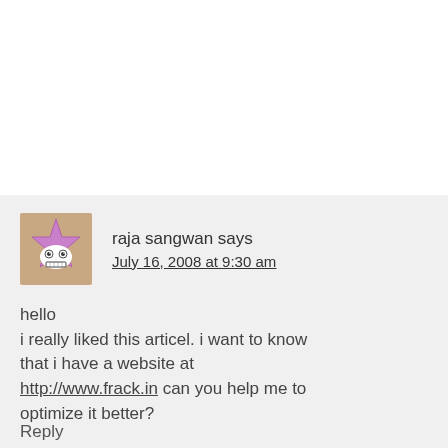raja sangwan says
July 16, 2008 at 9:30 am
hello
i really liked this articel. i want to know that i have a website at http://www.frack.in can you help me to optimize it better?
Reply